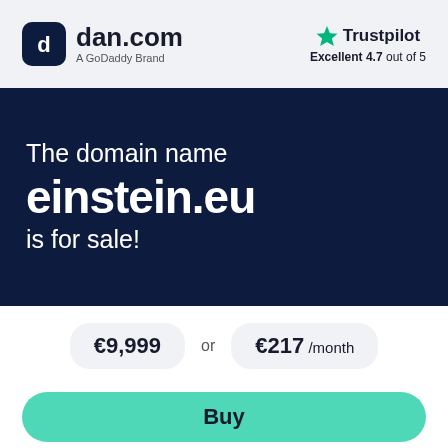[Figure (logo): dan.com logo — dark rounded square icon with 'd' symbol, followed by 'dan.com' text and 'A GoDaddy Brand' subtitle]
[Figure (logo): Trustpilot logo — green star icon with 'Trustpilot' text and 'Excellent 4.7 out of 5' rating]
The domain name einstein.eu is for sale!
€9,999 or €217 /month
Buy